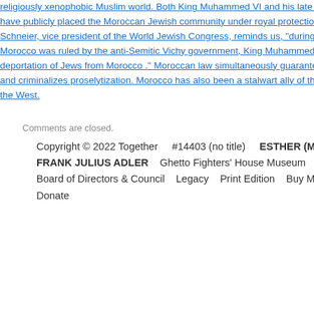religiously xenophobic Muslim world. Both King Muhammed VI and his late father have publicly placed the Moroccan Jewish community under royal protection. As Schneier, vice president of the World Jewish Congress, reminds us, "during World War Morocco was ruled by the anti-Semitic Vichy government, King Muhammed V prevented deportation of Jews from Morocco ." Moroccan law simultaneously guarantees freedom and criminalizes proselytization. Morocco has also been a stalwart ally of the United States and the West.
Comments are closed.
Copyright © 2022 Together    #14403 (no title)    ESTHER (Meppen) FRANK JULIUS ADLER    Ghetto Fighters' House Museum    Obituary Board of Directors & Council    Legacy    Print Edition    Buy Markers Donate